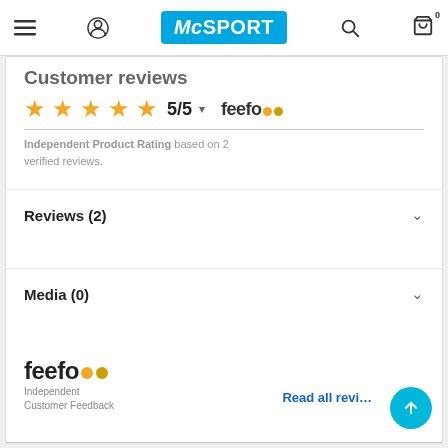McSPORT navigation bar with menu, user, logo, search, cart icons
Customer reviews
★★★★★ 5/5  feefo
Independent Product Rating based on 2 verified reviews.
Reviews (2)
Media (0)
[Figure (logo): Feefo logo — Independent Customer Feedback]
Read all reviews